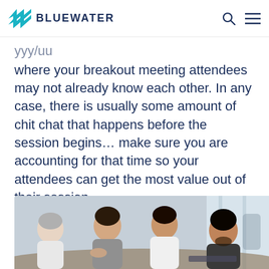BLUEWATER
where your breakout meeting attendees may not already know each other. In any case, there is usually some amount of chit chat that happens before the session begins… make sure you are accounting for that time so your attendees can get the most value out of their session.
[Figure (photo): Group of people seated around a table in a meeting or collaborative session, including a woman with gray hair on the left, a woman in a gray top speaking in the center, a woman in white, and a man on the right.]